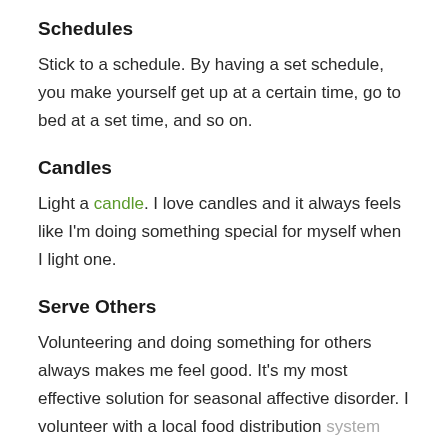Schedules
Stick to a schedule. By having a set schedule, you make yourself get up at a certain time, go to bed at a set time, and so on.
Candles
Light a candle. I love candles and it always feels like I'm doing something special for myself when I light one.
Serve Others
Volunteering and doing something for others always makes me feel good. It's my most effective solution for seasonal affective disorder. I volunteer with a local food distribution system growing produce and herbs for them. In the winter months, I volunteer by sorting food that comes from...